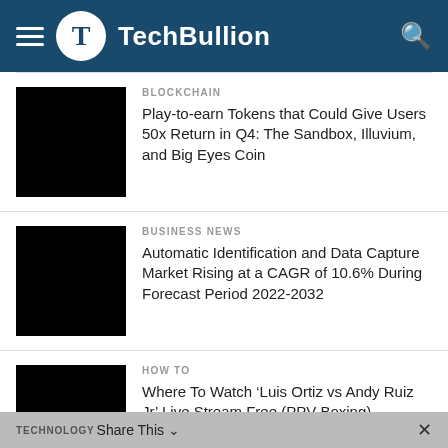TechBullion
BLOCKCHAIN
Play-to-earn Tokens that Could Give Users 50x Return in Q4: The Sandbox, Illuvium, and Big Eyes Coin
BUSINESS NEWS
Automatic Identification and Data Capture Market Rising at a CAGR of 10.6% During Forecast Period 2022-2032
HOW TO
Where To Watch ‘Luis Ortiz vs Andy Ruiz Jr’ Live Stream Free (PPV Boxing) Anywhere Here’s How
TECHNOLOGY
Reverse Engineering: A need to protect...
Share This